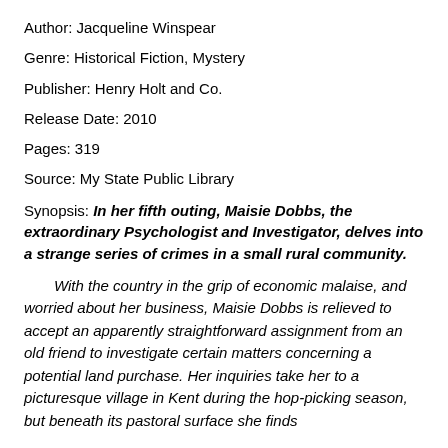Author: Jacqueline Winspear
Genre: Historical Fiction, Mystery
Publisher: Henry Holt and Co.
Release Date: 2010
Pages: 319
Source: My State Public Library
Synopsis: In her fifth outing, Maisie Dobbs, the extraordinary Psychologist and Investigator, delves into a strange series of crimes in a small rural community.
With the country in the grip of economic malaise, and worried about her business, Maisie Dobbs is relieved to accept an apparently straightforward assignment from an old friend to investigate certain matters concerning a potential land purchase. Her inquiries take her to a picturesque village in Kent during the hop-picking season, but beneath its pastoral surface she finds